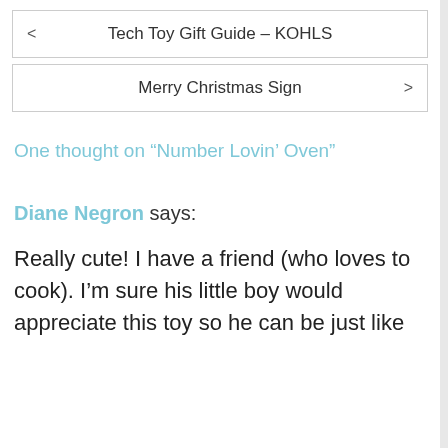Tech Toy Gift Guide – KOHLS
Merry Christmas Sign
One thought on “Number Lovin’ Oven”
Diane Negron says:
Really cute! I have a friend (who loves to cook). I’m sure his little boy would appreciate this toy so he can be just like his dad!